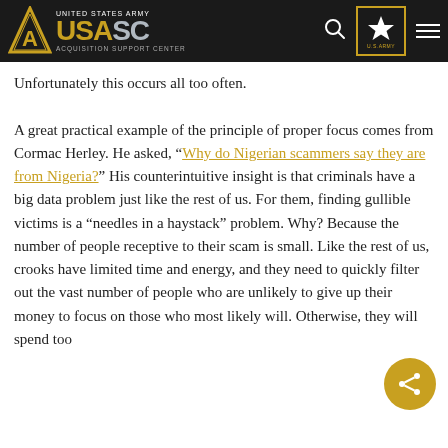United States Army USAASC Acquisition Support Center
Unfortunately this occurs all too often.

A great practical example of the principle of proper focus comes from Cormac Herley. He asked, “Why do Nigerian scammers say they are from Nigeria?” His counterintuitive insight is that criminals have a big data problem just like the rest of us. For them, finding gullible victims is a “needles in a haystack” problem. Why? Because the number of people receptive to their scam is small. Like the rest of us, crooks have limited time and energy, and they need to quickly filter out the vast number of people who are unlikely to give up their money to focus on those who most likely will. Otherwise, they will spend too